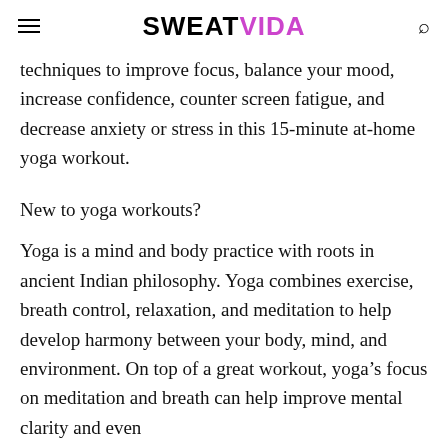SWEATVIDA
techniques to improve focus, balance your mood, increase confidence, counter screen fatigue, and decrease anxiety or stress in this 15-minute at-home yoga workout.
New to yoga workouts?
Yoga is a mind and body practice with roots in ancient Indian philosophy. Yoga combines exercise, breath control, relaxation, and meditation to help develop harmony between your body, mind, and environment. On top of a great workout, yoga's focus on meditation and breath can help improve mental clarity and even...